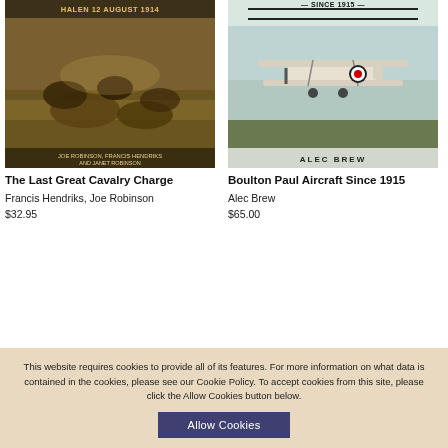[Figure (illustration): Book cover: The Last Great Cavalry Charge, showing cavalry battle scene with soldiers on horses, text 'HALEN 12 AUGUST 1914' at top, authors Joe Robinson, Francis Hendriks and Janet Robinson at bottom]
The Last Great Cavalry Charge
Francis Hendriks, Joe Robinson
$32.95
[Figure (illustration): Book cover: Boulton Paul Aircraft Since 1915, showing a vintage biplane with RAF roundel, author Alec Brew at bottom]
Boulton Paul Aircraft Since 1915
Alec Brew
$65.00
This website requires cookies to provide all of its features. For more information on what data is contained in the cookies, please see our Cookie Policy. To accept cookies from this site, please click the Allow Cookies button below.